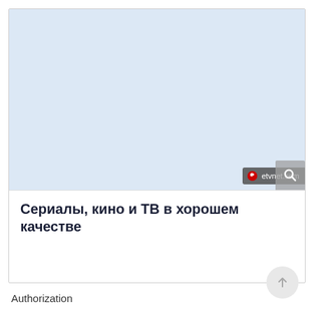[Figure (screenshot): Screenshot of etvnet.com website showing a light blue/white banner area with the etvnet.com watermark badge and a search icon in the bottom right corner]
Сериалы, кино и ТВ в хорошем качестве
Authorization